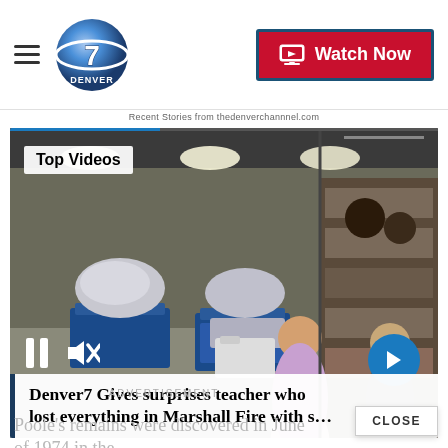Denver7 News — Watch Now
Recent Stories from thedenverchannnel.com
[Figure (screenshot): Video player showing people with shopping carts full of supplies in a warehouse store. Overlay shows 'Top Videos' label, pause and mute controls, next arrow button, and title: Denver7 Gives surprises teacher who lost everything in Marshall Fire with s…]
CLOSE
ADVERTISEMENT
Poole's remains were discovered in June of 1974 in the